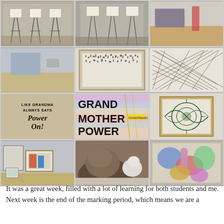[Figure (photo): 3x4 grid of art exhibition photos showing easels, gallery walls, artwork including text pieces reading 'LIKE GRANDMA ALWAYS SAYS Power On!' and 'GRAND MOTHER POWER', botanical prints, animal sculptures, and colorful artwork]
It was a great week, filled with a lot of learning for both students and me. Next week is the end of the marking period, which means we are a